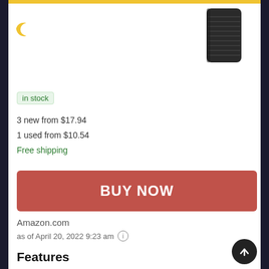[Figure (photo): Product image of a black rubber watch band/strap for Casio G-Shock, shown in upper right corner against white background]
[Figure (illustration): Yellow crescent moon icon in upper left corner]
in stock
3 new from $17.94
1 used from $10.54
Free shipping
BUY NOW
Amazon.com
as of April 20, 2022 9:23 am (i)
Features
Casio #10287236 Genuine Factory
Replacement Band for G-Shock Ga-1000...